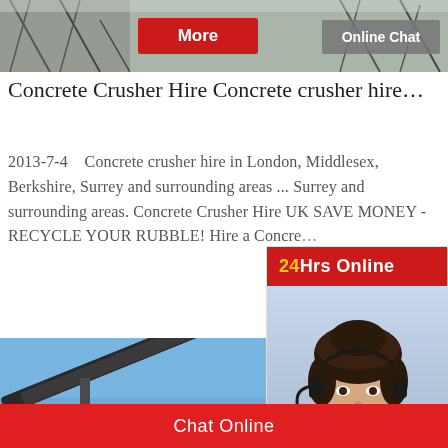[Figure (photo): Top banner showing industrial crusher/mining equipment with scaffold structures against a grey sky. Two buttons overlaid: red 'More' button and grey 'Online Chat' button.]
Concrete Crusher Hire Concrete crusher hire…
2013-7-4    Concrete crusher hire in London, Middlesex, Berkshire, Surrey and surrounding areas ... Surrey and surrounding areas. Concrete Crusher Hire UK SAVE MONEY - RECYCLE YOUR RUBBLE! Hire a Concre…
[Figure (photo): Large industrial conveyor belt machinery against a blue sky, partially watermarked with KEFI logo.]
[Figure (photo): Customer service agent popup: woman wearing headset microphone, smiling, in white blouse. Header reads '24Hrs Online' in red with yellow '24'. Below: dark panel reading 'Need questions & suggestion?' with red 'Chat Now' oval button.]
Chat Online